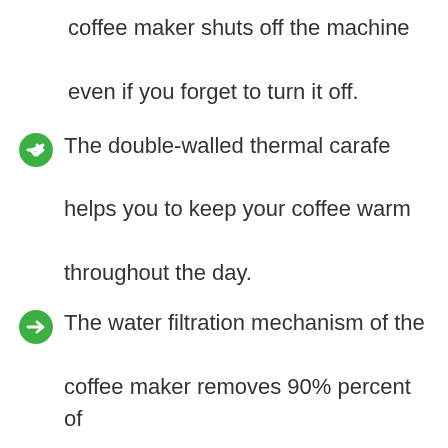coffee maker shuts off the machine even if you forget to turn it off.
The double-walled thermal carafe helps you to keep your coffee warm throughout the day.
The water filtration mechanism of the coffee maker removes 90% percent of the impurities for a better taste of coffee.
The freshness timer of the coffee